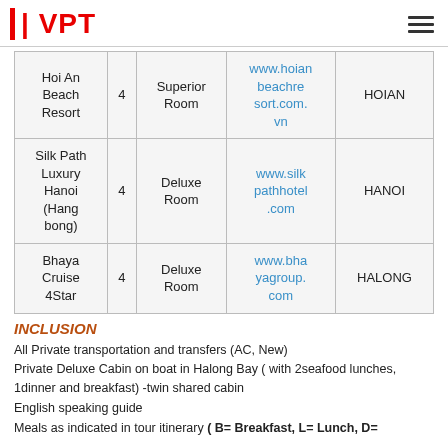VPT
| Hotel | Star | Room Type | Website | Location |
| --- | --- | --- | --- | --- |
| Hoi An Beach Resort | 4 | Superior Room | www.hoianbeachresort.com.vn | HOIAN |
| Silk Path Luxury Hanoi (Hang bong) | 4 | Deluxe Room | www.silkpathhotel.com | HANOI |
| Bhaya Cruise 4Star | 4 | Deluxe Room | www.bhayagroup.com | HALONG |
INCLUSION
All Private transportation and transfers (AC, New)
Private Deluxe Cabin on boat in Halong Bay ( with 2seafood lunches, 1dinner and breakfast) -twin shared cabin
English speaking guide
Meals as indicated in tour itinerary ( B= Breakfast, L= Lunch, D=